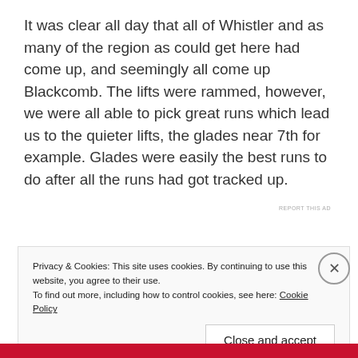It was clear all day that all of Whistler and as many of the region as could get here had come up, and seemingly all come up Blackcomb. The lifts were rammed, however, we were all able to pick great runs which lead us to the quieter lifts, the glades near 7th for example. Glades were easily the best runs to do after all the runs had got tracked up.
REPORT THIS AD
Privacy & Cookies: This site uses cookies. By continuing to use this website, you agree to their use.
To find out more, including how to control cookies, see here: Cookie Policy
Close and accept